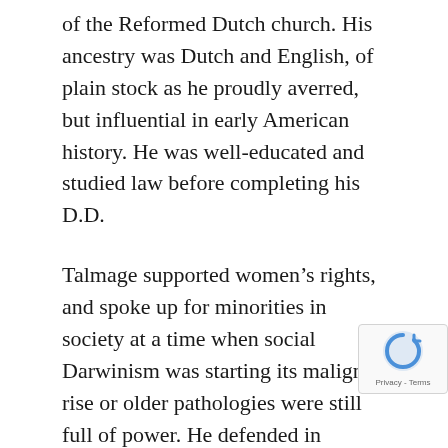of the Reformed Dutch church. His ancestry was Dutch and English, of plain stock as he proudly averred, but influential in early American history. He was well-educated and studied law before completing his D.D.
Talmage supported women’s rights, and spoke up for minorities in society at a time when social Darwinism was starting its malign rise or older pathologies were still full of power. He defended in particular the Jewish people from the growing persecutions in Russia, and foresaw the catastrophe Germany would visit upon the Jews. He was a supporter of renewing the ties of Jews to Palestine on biblical grounds and to palliate this risk.
Thus, Talmage was not the kind of Temperance